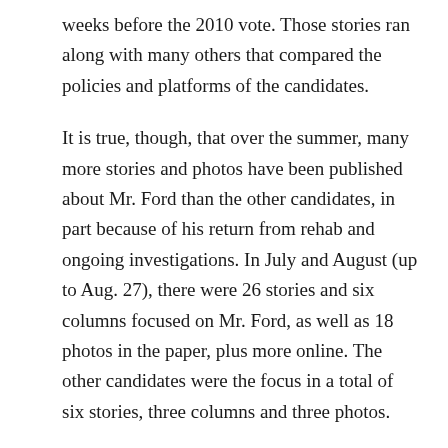weeks before the 2010 vote. Those stories ran along with many others that compared the policies and platforms of the candidates.
It is true, though, that over the summer, many more stories and photos have been published about Mr. Ford than the other candidates, in part because of his return from rehab and ongoing investigations. In July and August (up to Aug. 27), there were 26 stories and six columns focused on Mr. Ford, as well as 18 photos in the paper, plus more online. The other candidates were the focus in a total of six stories, three columns and three photos.
But while the reader is right that coverage has been